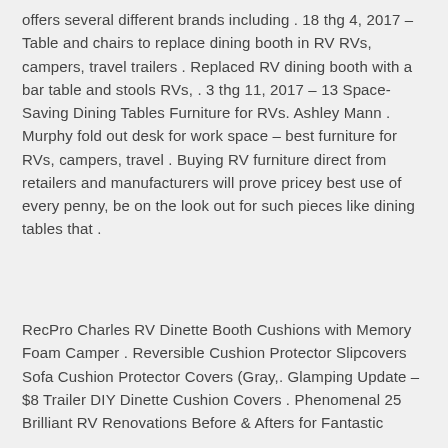offers several different brands including . 18 thg 4, 2017 – Table and chairs to replace dining booth in RV RVs, campers, travel trailers . Replaced RV dining booth with a bar table and stools RVs, . 3 thg 11, 2017 – 13 Space-Saving Dining Tables Furniture for RVs. Ashley Mann . Murphy fold out desk for work space – best furniture for RVs, campers, travel . Buying RV furniture direct from retailers and manufacturers will prove pricey best use of every penny, be on the look out for such pieces like dining tables that .
RecPro Charles RV Dinette Booth Cushions with Memory Foam Camper . Reversible Cushion Protector Slipcovers Sofa Cushion Protector Covers (Gray,. Glamping Update – $8 Trailer DIY Dinette Cushion Covers . Phenomenal 25 Brilliant RV Renovations Before & Afters for Fantastic...